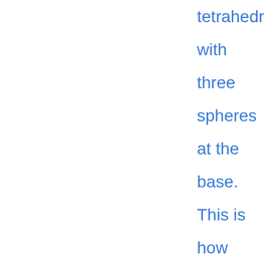tetrahedron with three spheres at the base. This is how they stack oranges in a supermarket. Keep building up the pyramid the same